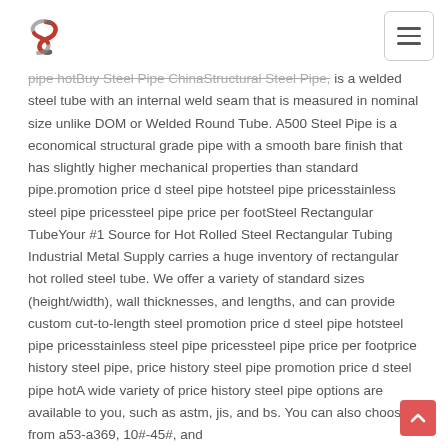[Logo] [Navigation menu button]
pipe hotBuy Steel Pipe ChinaStructural Steel Pipe, is a welded steel tube with an internal weld seam that is measured in nominal size unlike DOM or Welded Round Tube. A500 Steel Pipe is a economical structural grade pipe with a smooth bare finish that has slightly higher mechanical properties than standard pipe.promotion price d steel pipe hotsteel pipe pricesstainless steel pipe pricessteel pipe price per footSteel Rectangular TubeYour #1 Source for Hot Rolled Steel Rectangular Tubing Industrial Metal Supply carries a huge inventory of rectangular hot rolled steel tube. We offer a variety of standard sizes (height/width), wall thicknesses, and lengths, and can provide custom cut-to-length steel promotion price d steel pipe hotsteel pipe pricesstainless steel pipe pricessteel pipe price per footprice history steel pipe, price history steel pipe promotion price d steel pipe hotA wide variety of price history steel pipe options are available to you, such as astm, jis, and bs. You can also choose from a53-a369, 10#-45#, and